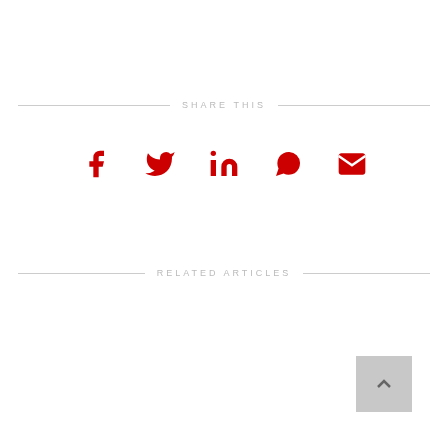SHARE THIS
[Figure (infographic): Social share icons: Facebook, Twitter, LinkedIn, WhatsApp, Email — all in red]
RELATED ARTICLES
[Figure (infographic): Back to top button with upward chevron arrow, grey background, bottom right corner]